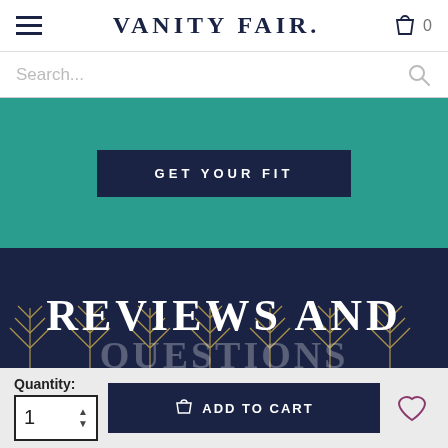VANITY FAIR.
Search...
[Figure (screenshot): Teal background section with dark navy 'GET YOUR FIT' button]
[Figure (illustration): Dark navy background with gold Art Deco geometric line pattern, white bold text reading 'REVIEWS AND QUESTIONS']
Quantity: 1
ADD TO CART